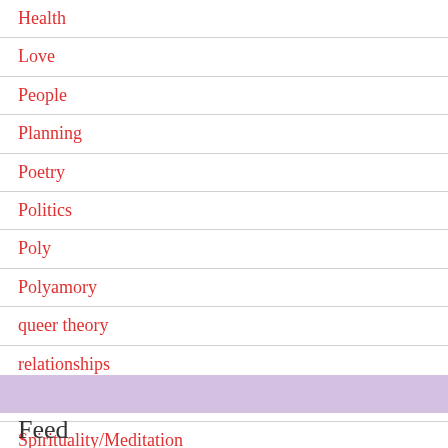Health
Love
People
Planning
Poetry
Politics
Poly
Polyamory
queer theory
relationships
Sexual
Spirituality/Meditation
Uncategorized
Feed